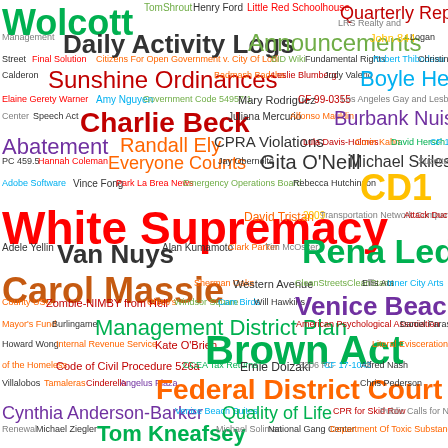[Figure (infographic): Word cloud featuring government-related terms, people names, and policy topics from Los Angeles city government documents. Terms include Brown Act, Federal District Court, White Supremacy, Rena Leddy, Carol Massie, Venice Beach, Management District Plan, CD1, Van Nuys, Boyle Heights, Charlie Beck, Sunshine Ordinances, Daily Activity Logs, Announcements, Quarterly Reports, CPRA Violations, Abatement, Nuisance, Randall Ely, Gita O'Neill, Michael Skiles, Everyone Counts, Tom Kneafsey, Cynthia Anderson-Barker, Quality of Life, Ernie Doizaki, Code of Civil Procedure 526a, CCEA Tax Returns, and many more, displayed in various colors and font sizes indicating frequency or importance.]